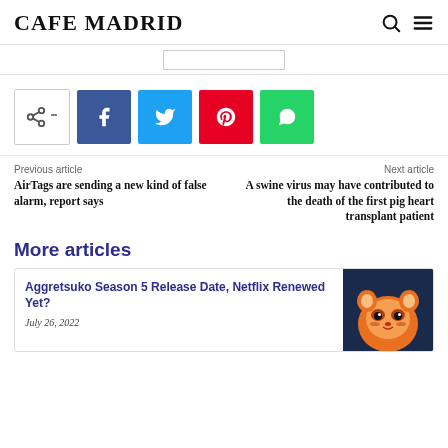CAFE MADRID
Previous article
AirTags are sending a new kind of false alarm, report says
Next article
A swine virus may have contributed to the death of the first pig heart transplant patient
More articles
Aggretsuko Season 5 Release Date, Netflix Renewed Yet?
July 26, 2022